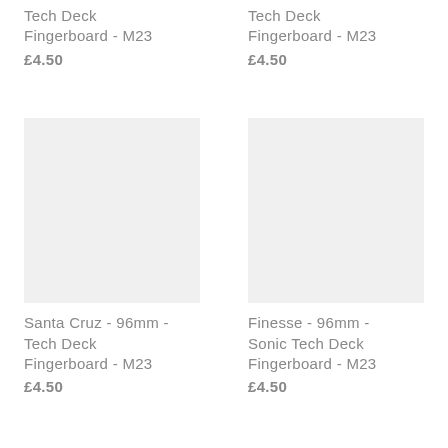Tech Deck Fingerboard - M23
£4.50
Tech Deck Fingerboard - M23
£4.50
[Figure (photo): Product image placeholder - light gray rectangle for Santa Cruz 96mm Tech Deck Fingerboard M23]
Santa Cruz - 96mm - Tech Deck Fingerboard - M23
£4.50
[Figure (photo): Product image placeholder - light gray rectangle for Finesse 96mm Sonic Tech Deck Fingerboard M23]
Finesse - 96mm - Sonic Tech Deck Fingerboard - M23
£4.50